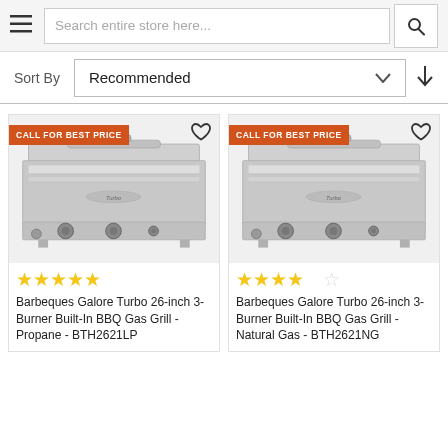Search entire store here...
Sort By   Recommended
[Figure (photo): Barbeques Galore Turbo 26-inch 3-Burner Built-In BBQ Gas Grill - Propane - BTH2621LP, stainless steel grill, product listing with CALL FOR BEST PRICE badge, 5-star rating]
[Figure (photo): Barbeques Galore Turbo 26-inch 3-Burner Built-In BBQ Gas Grill - Natural Gas - BTH2621NG, stainless steel grill, product listing with CALL FOR BEST PRICE badge, 4.5-star rating]
Barbeques Galore Turbo 26-inch 3-Burner Built-In BBQ Gas Grill - Propane - BTH2621LP
Barbeques Galore Turbo 26-inch 3-Burner Built-In BBQ Gas Grill - Natural Gas - BTH2621NG